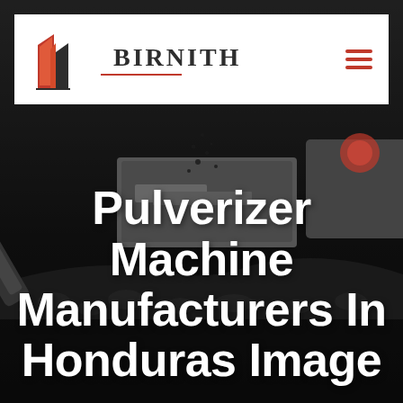[Figure (photo): Industrial crushing/pulverizer machine station with conveyor belts, large mechanical equipment processing dark aggregate material, photographed in dark moody tones with overlay]
BIRNITH
Pulverizer Machine Manufacturers In Honduras Image